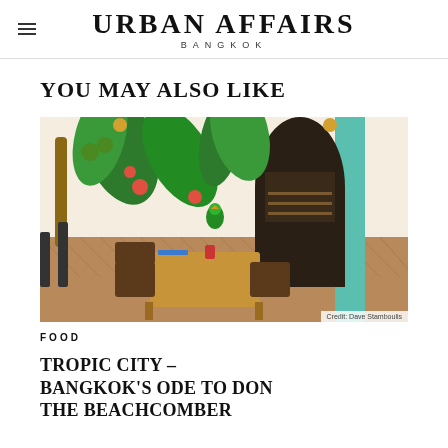URBAN AFFAIRS BANGKOK
YOU MAY ALSO LIKE
[Figure (photo): Interior of Tropic City bar/restaurant in Bangkok featuring tropical wall murals with palm leaves and flowers, wooden herringbone-patterned walls, bar stools, and wooden dining tables with chairs. Teal/mint green archway on the right side.]
FOOD   Credit: Dave Stamboulis
TROPIC CITY – BANGKOK'S ODE TO DON THE BEACHCOMBER